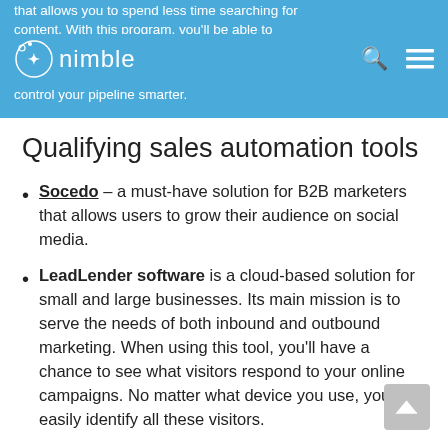that allows you to spend less time searching for content. With this program, you'll be able to control your pipeline smarter.
Qualifying sales automation tools
Socedo – a must-have solution for B2B marketers that allows users to grow their audience on social media.
LeadLender software is a cloud-based solution for small and large businesses. Its main mission is to serve the needs of both inbound and outbound marketing. When using this tool, you'll have a chance to see what visitors respond to your online campaigns. No matter what device you use, you'll easily identify all these visitors.